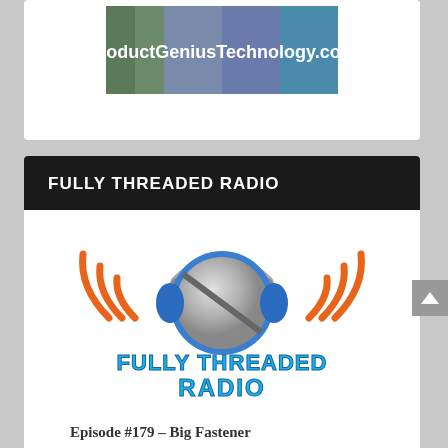[Figure (logo): ProductGeniusTechnology.com banner logo with colorful vertical stripe background]
FULLY THREADED RADIO
[Figure (logo): Fully Threaded Radio podcast logo showing headphones with blue and silver coloring and orange radio wave arcs, with text 'FULLY THREADED RADIO' in blue and white below]
Episode #179 – Big Fastener
Episode #178 – Thread Pilled